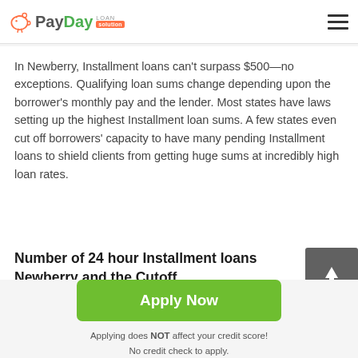PayDay Loan Solution
In Newberry, Installment loans can't surpass $500—no exceptions. Qualifying loan sums change depending upon the borrower's monthly pay and the lender. Most states have laws setting up the highest Installment loan sums. A few states even cut off borrowers' capacity to have many pending Installment loans to shield clients from getting huge sums at incredibly high loan rates.
Number of 24 hour Installment loans Newberry and the Cutoff
So yes, the law permits you to get another Installment
[Figure (other): Scroll to top button — grey square with white upward arrow]
Apply Now
Applying does NOT affect your credit score!
No credit check to apply.